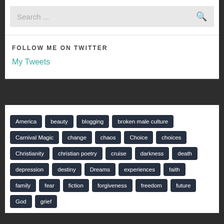Search ...
FOLLOW ME ON TWITTER
My Tweets
America
beauty
blogging
broken male culture
Carnival Magic
change
chaos
Choice
choices
Christianity
christian poetry
cruise
darkness
death
depression
destiny
Dreams
experiences
faith
family
fear
fiction
forgiveness
freedom
future
God
grief